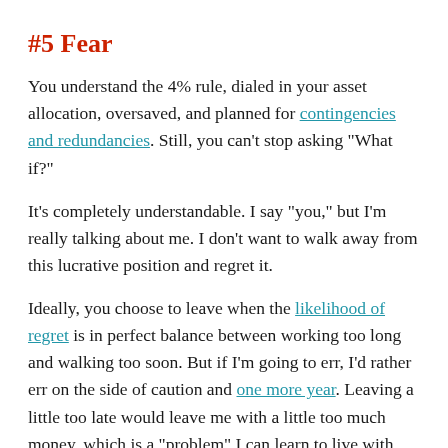#5 Fear
You understand the 4% rule, dialed in your asset allocation, oversaved, and planned for contingencies and redundancies. Still, you can’t stop asking “What if?”
It’s completely understandable. I say “you,” but I’m really talking about me. I don’t want to walk away from this lucrative position and regret it.
Ideally, you choose to leave when the likelihood of regret is in perfect balance between working too long and walking too soon. But if I’m going to err, I’d rather err on the side of caution and one more year. Leaving a little too late would leave me with a little too much money, which is a “problem” I can learn to live with.